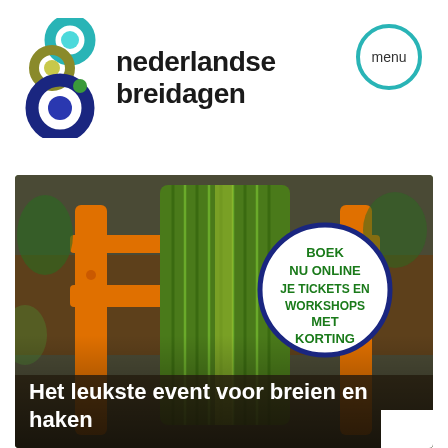[Figure (logo): Nederlandse Breidagen logo with overlapping colored circle rings (teal, olive/gold, dark blue) and the text 'nederlandse breidagen']
[Figure (other): Menu button: teal circle outline with text 'menu' inside]
[Figure (photo): Photo of a green knitted scarf draped over an orange wooden chair, with succulents in the background. Overlaid badge circle with dark blue border saying 'BOEK NU ONLINE JE TICKETS EN WORKSHOPS MET KORTING'. White text overlay at bottom: 'Het leukste event voor breien en haken']